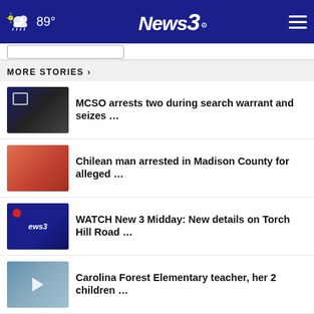89° News 3
MORE STORIES ›
MCSO arrests two during search warrant and seizes …
Chilean man arrested in Madison County for alleged …
WATCH New 3 Midday: New details on Torch Hill Road …
Carolina Forest Elementary teacher, her 2 children …
Governor again suspends Georgia gas taxes into mid-October